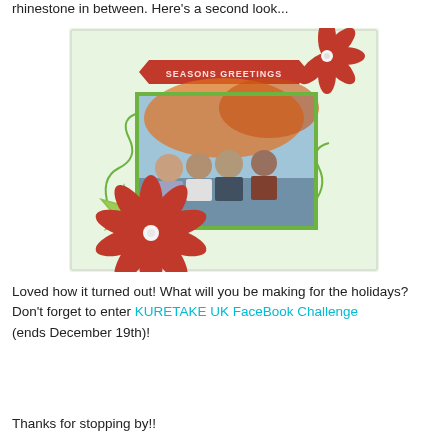rhinestone in between. Here's a second look...
[Figure (photo): A handmade Christmas photo frame decorated with red poinsettia flowers, green swirls, and a 'Seasons Greetings' banner. The frame contains a photograph of four people outdoors with autumn foliage in the background.]
Loved how it turned out! What will you be making for the holidays?
Don't forget to enter KURETAKE UK FaceBook Challenge (ends December 19th)!
Thanks for stopping by!!